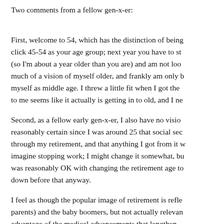Two comments from a fellow gen-x-er:
First, welcome to 54, which has the distinction of being the last year you click 45-54 as your age group; next year you have to st... (so I'm about a year older than you are) and am not loo... much of a vision of myself older, and frankly am only b... myself as middle age. I threw a little fit when I got the... to me seems like it actually is getting in to old, and I ne...
Second, as a fellow early gen-x-er, I also have no visio... reasonably certain since I was around 25 that social sec... through my retirement, and that anything I got from it w... imagine stopping work; I might change it somewhat, bu... was reasonably OK with changing the retirement age to... down before that anyway.
I feel as though the popular image of retirement is refle... parents) and the baby boomers, but not actually relevan... advantage of the medical advancements that lengthen...